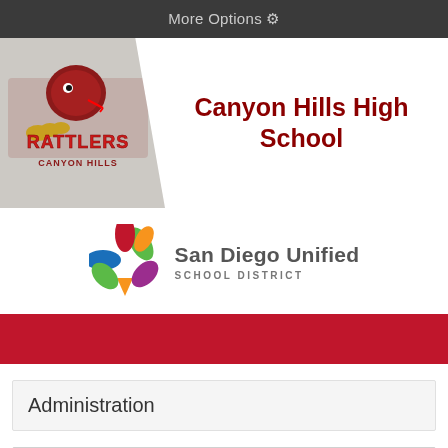More Options ⚙
[Figure (logo): Canyon Hills Rattlers mascot logo with snake and text on beige/tan background]
Canyon Hills High School
[Figure (logo): San Diego Unified School District logo - colorful star/flower shape]
San Diego Unified SCHOOL DISTRICT
Administration
ADMINISTRATION